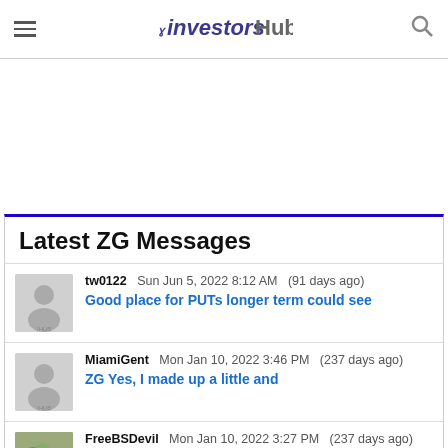investorshub
Latest ZG Messages
tw0122  Sun Jun 5, 2022 8:12 AM  (91 days ago)  Good place for PUTs longer term could see
MiamiGent  Mon Jan 10, 2022 3:46 PM  (237 days ago)  ZG Yes, I made up a little and
FreeBSDevil  Mon Jan 10, 2022 3:27 PM  (237 days ago)